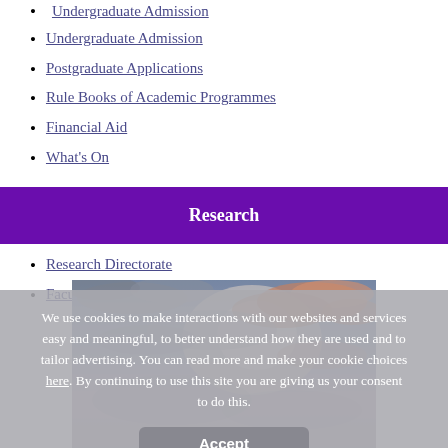Undergraduate Admission
Postgraduate Applications
Rule Books of Academic Programmes
Financial Aid
What's On
Research
Research Directorate
Faculty Research Forum Home
[Figure (photo): Sunset sky with orange and pink clouds against a blue-grey sky]
We use cookies to make interactions with our websites and services easy and meaningful, to better understand how they are used and to tailor advertising. You can read more and make your cookie choices here. By continuing to use this site you are giving us your consent to do this.